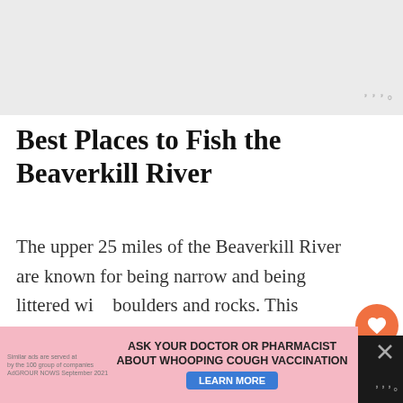[Figure (photo): Grey placeholder image area at top of page, with a Weatherbug-style logo watermark in the top right corner]
Best Places to Fish the Beaverkill River
The upper 25 miles of the Beaverkill River are known for being narrow and being littered with boulders and rocks. This section has really nice overhead coverage, which keeps the water cool. This section consists mostly of pocket water and pools. In the section between Balsam Lake and Shin Creek, the pools become larger, with fast
[Figure (screenshot): UI overlay with heart/like button (orange circle, 19 count), share button, and a 'What's Next' widget showing a thumbnail and 'Pricing Plans · DIY Fly...' text]
[Figure (other): Bottom banner advertisement: pink background with pill/medicine imagery, text 'ASK YOUR DOCTOR OR PHARMACIST ABOUT WHOOPING COUGH VACCINATION' with a blue 'LEARN MORE' button. Dark background on right with X close button and Weatherbug logo.]